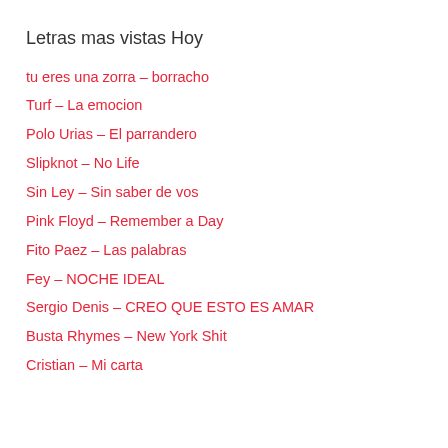Letras mas vistas Hoy
tu eres una zorra – borracho
Turf – La emocion
Polo Urias – El parrandero
Slipknot – No Life
Sin Ley – Sin saber de vos
Pink Floyd – Remember a Day
Fito Paez – Las palabras
Fey – NOCHE IDEAL
Sergio Denis – CREO QUE ESTO ES AMAR
Busta Rhymes – New York Shit
Cristian – Mi carta